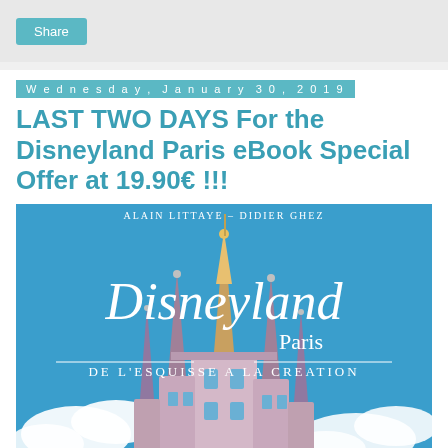Share
Wednesday, January 30, 2019
LAST TWO DAYS For the Disneyland Paris eBook Special Offer at 19.90€ !!!
[Figure (photo): Book cover of 'Disneyland Paris - De l'Esquisse à la Création' by Alain Littaye and Didier Ghez, showing the Sleeping Beauty Castle spires against a blue sky with clouds.]